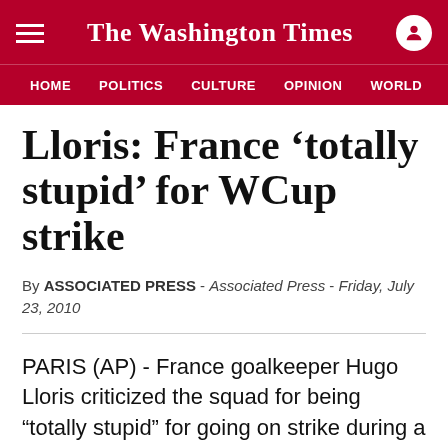The Washington Times
HOME  POLITICS  CULTURE  OPINION  WORLD  SECURITY
Lloris: France ‘totally stupid’ for WCup strike
By ASSOCIATED PRESS - Associated Press - Friday, July 23, 2010
PARIS (AP) - France goalkeeper Hugo Lloris criticized the squad for being “totally stupid” for going on strike during a World Cup training session, and he is desperate to “restore the image” that was so badly damaged in South Africa.